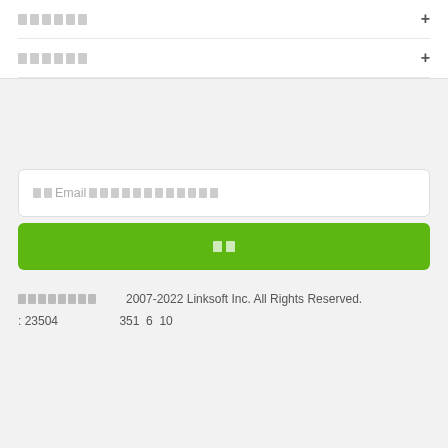██████ +
██████ +
██Email ██████████████
██
████████  2007-2022 Linksoft Inc. All Rights Reserved.  : 23504  351 6 10